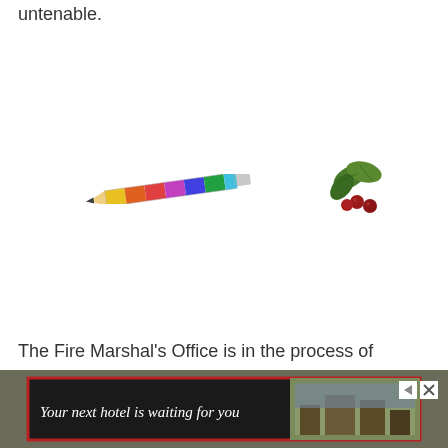untenable.
[Figure (illustration): Emoji of a pencil with rainbow/multicolor design, oriented diagonally]
[Figure (illustration): Emoji of holly leaves and red berries]
The Fire Marshal’s Office is in the process of investigating the cause of the fire.
[Figure (photo): Advertisement banner: 'Your next hotel is waiting for you' with hotel/resort image on dark background with red border]